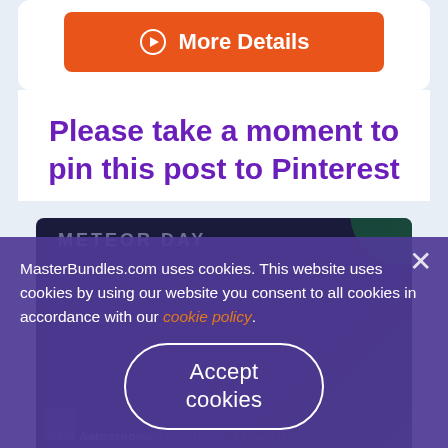[Figure (other): Orange button with play icon circle and text 'More Details']
Please take a moment to pin this post to Pinterest
[Figure (screenshot): Dark background image strip showing 'METEOR DAY' text with green accent circle and astronomy presentation templates label]
MasterBundles.com uses cookies. This website uses cookies by using our website you consent to all cookies in accordance with our cookie policy.
[Figure (other): Accept cookies button with rounded pill border on purple cookie consent overlay]